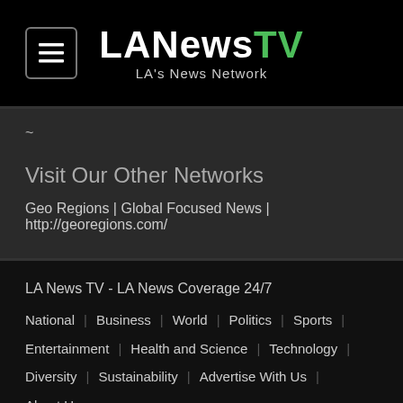LANewsTV — LA's News Network
~
Visit Our Other Networks
Geo Regions | Global Focused News | http://georegions.com/
LA News TV - LA News Coverage 24/7 | National | Business | World | Politics | Sports | Entertainment | Health and Science | Technology | Diversity | Sustainability | Advertise With Us | About Us | Terms and Agreements | Contact Us